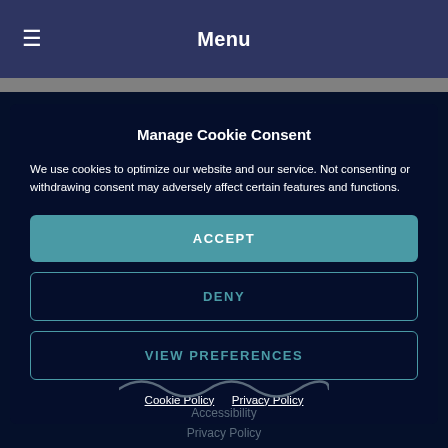Menu
Manage Cookie Consent
We use cookies to optimize our website and our service. Not consenting or withdrawing consent may adversely affect certain features and functions.
ACCEPT
DENY
VIEW PREFERENCES
Cookie Policy   Privacy Policy
Accessibility
Privacy Policy